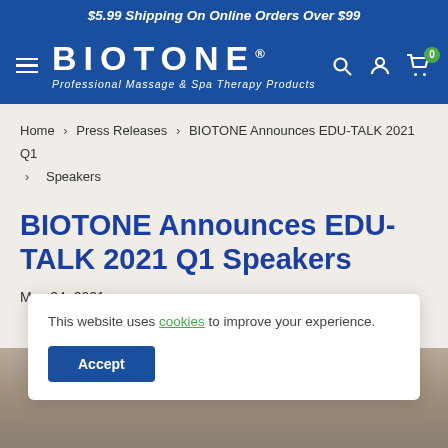$5.99 Shipping On Online Orders Over $99
[Figure (logo): BIOTONE logo with hamburger menu, brand name, tagline 'Professional Massage & Spa Therapy Products', search icon, account icon, and cart icon with badge showing 0]
Home > Press Releases > BIOTONE Announces EDU-TALK 2021 Q1 > Speakers
BIOTONE Announces EDU-TALK 2021 Q1 Speakers
May 24, 2021
This website uses cookies to improve your experience.
[Figure (photo): Partial photo of people at bottom of page]